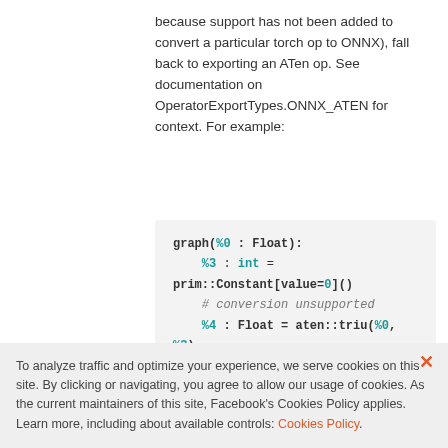because support has not been added to convert a particular torch op to ONNX), fall back to exporting an ATen op. See documentation on OperatorExportTypes.ONNX_ATEN for context. For example:
graph(%0 : Float):
  %3 : int =
prim::Constant[value=0]()
  # conversion unsupported
  %4 : Float = aten::triu(%0, %3)
  # conversion supported
  %5 : Float = aten::mul(%4, %0)
  return (%5)
To analyze traffic and optimize your experience, we serve cookies on this site. By clicking or navigating, you agree to allow our usage of cookies. As the current maintainers of this site, Facebook's Cookies Policy applies. Learn more, including about available controls: Cookies Policy.